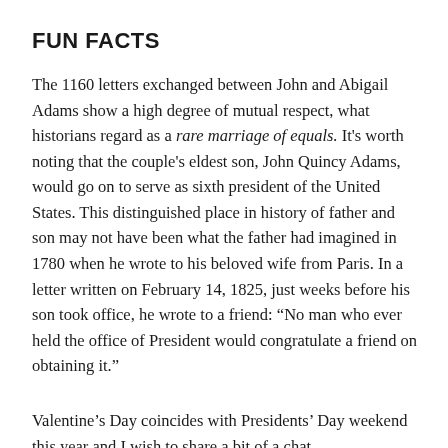FUN FACTS
The 1160 letters exchanged between John and Abigail Adams show a high degree of mutual respect, what historians regard as a rare marriage of equals. It's worth noting that the couple's eldest son, John Quincy Adams, would go on to serve as sixth president of the United States. This distinguished place in history of father and son may not have been what the father had imagined in 1780 when he wrote to his beloved wife from Paris. In a letter written on February 14, 1825, just weeks before his son took office, he wrote to a friend: “No man who ever held the office of President would congratulate a friend on obtaining it.”
Valentine’s Day coincides with Presidents’ Day weekend this year and I wish to share a bit of a chat